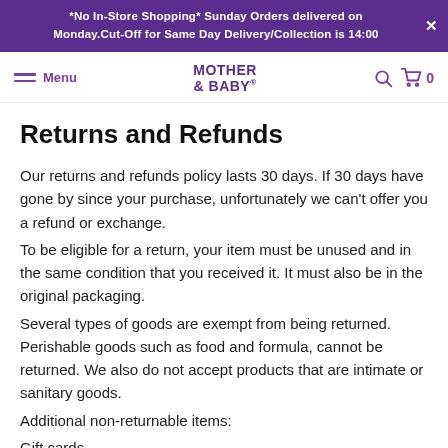*No In-Store Shopping* Sunday Orders delivered on Monday.Cut-Off for Same Day Delivery/Collection is 14:00
Menu | MOTHER & BABY® | Search | Cart 0
Returns and Refunds
Our returns and refunds policy lasts 30 days. If 30 days have gone by since your purchase, unfortunately we can't offer you a refund or exchange.
To be eligible for a return, your item must be unused and in the same condition that you received it. It must also be in the original packaging.
Several types of goods are exempt from being returned. Perishable goods such as food and formula, cannot be returned. We also do not accept products that are intimate or sanitary goods.
Additional non-returnable items:
Gift cards